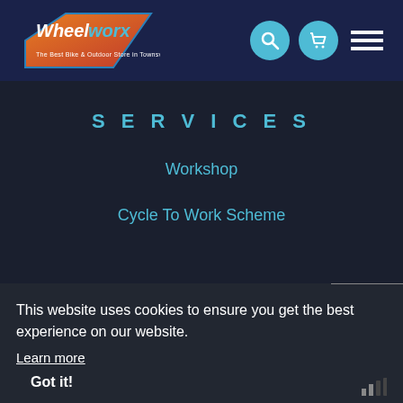[Figure (logo): WheelWorx logo - orange and red diamond shape with stylized text 'WheelWorx' in white/blue]
SERVICES
Workshop
Cycle To Work Scheme
This website uses cookies to ensure you get the best experience on our website.
Learn more
Got it!